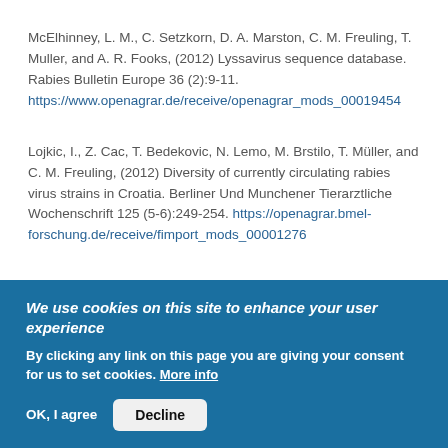McElhinney, L. M., C. Setzkorn, D. A. Marston, C. M. Freuling, T. Muller, and A. R. Fooks, (2012) Lyssavirus sequence database. Rabies Bulletin Europe 36 (2):9-11. https://www.openagrar.de/receive/openagrar_mods_00019454
Lojkic, I., Z. Cac, T. Bedekovic, N. Lemo, M. Brstilo, T. Müller, and C. M. Freuling, (2012) Diversity of currently circulating rabies virus strains in Croatia. Berliner Und Munchener Tierarztliche Wochenschrift 125 (5-6):249-254. https://openagrar.bmel-forschung.de/receive/fimport_mods_00001276
We use cookies on this site to enhance your user experience
By clicking any link on this page you are giving your consent for us to set cookies. More info
OK, I agree | Decline